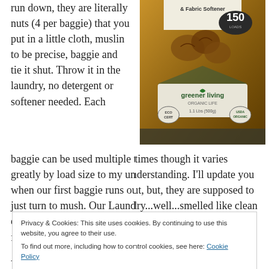run down, they are literally nuts (4 per baggie) that you put in a little cloth, muslin to be precise, baggie and tie it shut. Throw it in the laundry, no detergent or softener needed. Each baggie can be used multiple times though it varies greatly by load size to my understanding. I'll update you when our first baggie runs out, but, they are supposed to just turn to mush. Our Laundry...well...smelled like clean cotton/denim/poly blends etc. no lingering odors or flowery fresh scents, making
[Figure (photo): Product photo of Greener Living organic soap nuts laundry detergent & fabric softener, 150 loads, 1.1 lbs (500g), with ECO CERT and USDA Organic seals]
Privacy & Cookies: This site uses cookies. By continuing to use this website, you agree to their use.
To find out more, including how to control cookies, see here: Cookie Policy
And also the promised new recipes! Coco-nana-